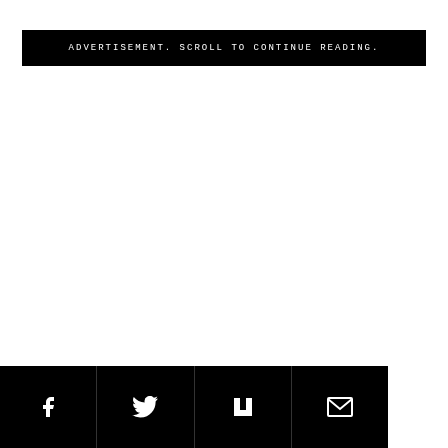ADVERTISEMENT. SCROLL TO CONTINUE READING.
Social share buttons: Facebook, Twitter, Flipboard, Email